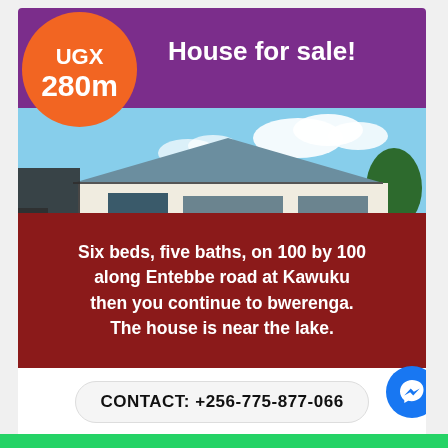House for sale!
UGX 280m
[Figure (photo): Two-storey white house with grey roof, blue sky background, red soil driveway, trees visible]
Six beds, five baths, on 100 by 100 along Entebbe road at Kawuku then you continue to bwerenga. The house is near the lake.
CONTACT: +256-775-877-066